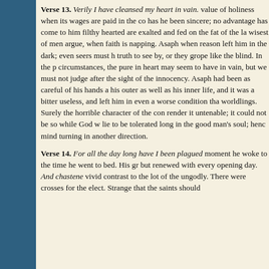Verse 13. Verily I have cleansed my heart in vain. value of holiness when its wages are paid in the co has he been sincere; no advantage has come to him filthy hearted are exalted and fed on the fat of the la wisest of men argue, when faith is napping. Asaph when reason left him in the dark; even seers must h truth to see by, or they grope like the blind. In the p circumstances, the pure in heart may seem to have in vain, but we must not judge after the sight of the innocency. Asaph had been as careful of his hands a his outer as well as his inner life, and it was a bitter useless, and left him in even a worse condition tha worldlings. Surely the horrible character of the con render it untenable; it could not be so while God w lie to be tolerated long in the good man's soul; henc mind turning in another direction.
Verse 14. For all the day long have I been plagued moment he woke to the time he went to bed. His gr but renewed with every opening day. And chastene vivid contrast to the lot of the ungodly. There were crosses for the elect. Strange that the saints should